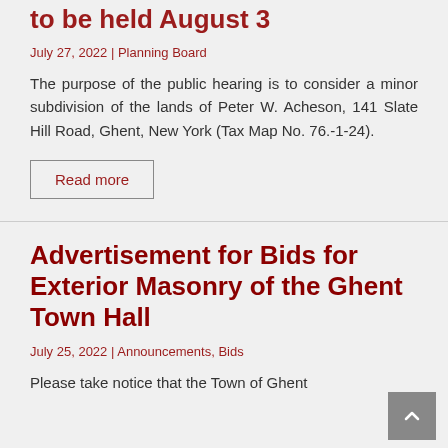to be held August 3
July 27, 2022 | Planning Board
The purpose of the public hearing is to consider a minor subdivision of the lands of Peter W. Acheson, 141 Slate Hill Road, Ghent, New York (Tax Map No. 76.-1-24).
Read more
Advertisement for Bids for Exterior Masonry of the Ghent Town Hall
July 25, 2022 | Announcements, Bids
Please take notice that the Town of Ghent